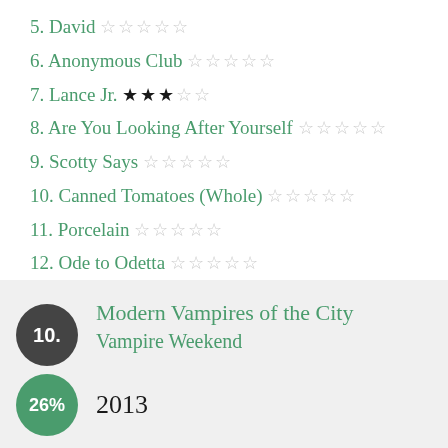5. David ☆☆☆☆☆
6. Anonymous Club ☆☆☆☆☆
7. Lance Jr. ★★★☆☆
8. Are You Looking After Yourself ☆☆☆☆☆
9. Scotty Says ☆☆☆☆☆
10. Canned Tomatoes (Whole) ☆☆☆☆☆
11. Porcelain ☆☆☆☆☆
12. Ode to Odetta ☆☆☆☆☆
10. Modern Vampires of the City — Vampire Weekend — 2013 — 26%
1. Obvious Bicycle ☆☆☆☆☆